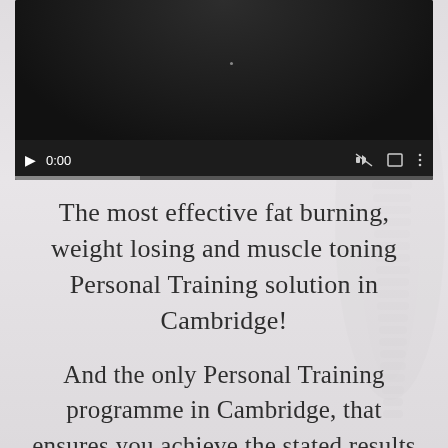[Figure (screenshot): Video player with dark background, play button, 0:00 timestamp, mute icon, fullscreen icon, and more options icon, with a progress bar at the bottom.]
The most effective fat burning, weight losing and muscle toning Personal Training solution in Cambridge!
And the only Personal Training programme in Cambridge, that ensures you achieve the stated results (adhering to all guidelines) or your money back